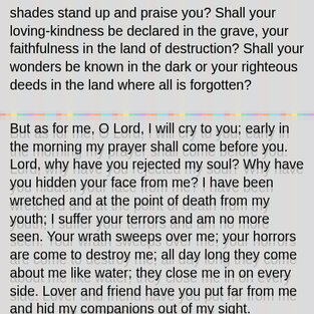shades stand up and praise you? Shall your loving-kindness be declared in the grave, your faithfulness in the land of destruction? Shall your wonders be known in the dark or your righteous deeds in the land where all is forgotten?
But as for me, O Lord, I will cry to you; early in the morning my prayer shall come before you. Lord, why have you rejected my soul? Why have you hidden your face from me? I have been wretched and at the point of death from my youth; I suffer your terrors and am no more seen. Your wrath sweeps over me; your horrors are come to destroy me; all day long they come about me like water; they close me in on every side. Lover and friend have you put far from me and hid my companions out of my sight.
Psalm 95
O come, let us sing to the Lord; let us heartily rejoice in the rock of our salvation. Let us come into his presence with thanksgiving and be glad in him with psalms. For the Lord is a great God and a great king above all gods.
In his hand are the depths of the earth and the heights of the